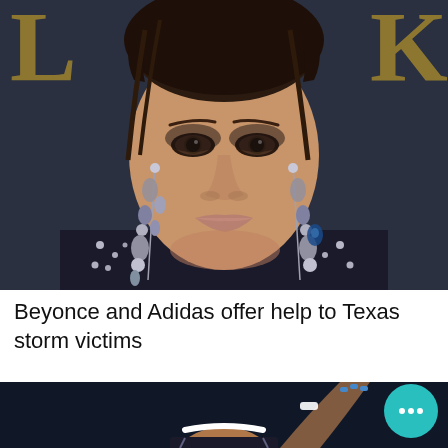[Figure (photo): Close-up portrait of a woman with braided hair, dramatic jeweled earrings, smoky eye makeup, and a jeweled outfit, photographed at what appears to be a movie premiere with letters visible in background]
Beyonce and Adidas offer help to Texas storm victims
[Figure (photo): Partial image of a woman (appears to be a tennis player) raising her hand, wearing athletic gear with a white headband, photographed against a dark background]